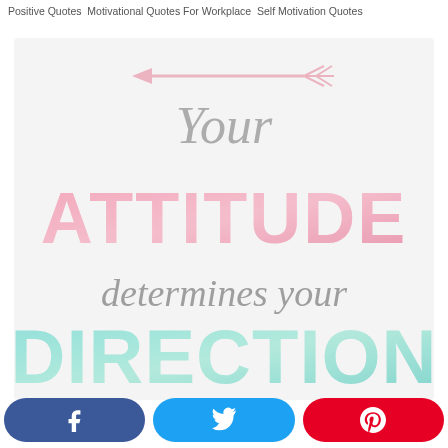Positive Quotes Motivational Quotes For Workplace Self Motivation Quotes
[Figure (illustration): Motivational quote illustration on light gray/white background with watercolor-style text. A pink arrow points left at top. Text reads: 'Your ATTITUDE determines your DIRECTION' in script and bold display fonts. 'Your' and 'determines your' in gray script; 'ATTITUDE' in large pink watercolor letters; 'DIRECTION' in large teal/mint watercolor letters.]